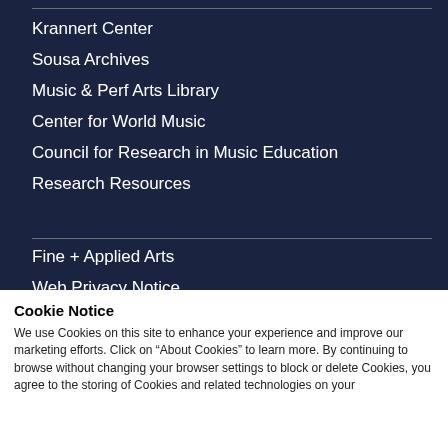Krannert Center
Sousa Archives
Music & Perf Arts Library
Center for World Music
Council for Research in Music Education
Research Resources
Fine + Applied Arts
Web Privacy Notice
ISYM  |  Marching Illini
CONTACT US
HIRE A MUSICIAN
Cookie Notice
We use Cookies on this site to enhance your experience and improve our marketing efforts. Click on "About Cookies" to learn more. By continuing to browse without changing your browser settings to block or delete Cookies, you agree to the storing of Cookies and related technologies on your